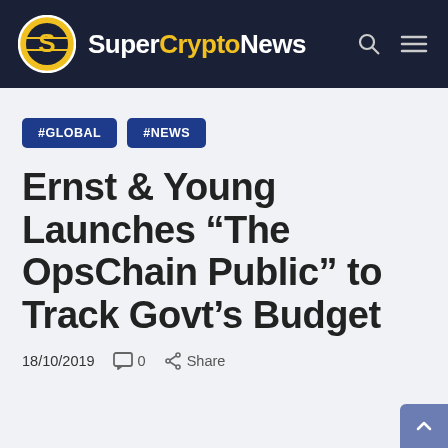SuperCryptoNews
#GLOBAL
#NEWS
Ernst & Young Launches “The OpsChain Public” to Track Govt’s Budget
18/10/2019   💬 0   Share